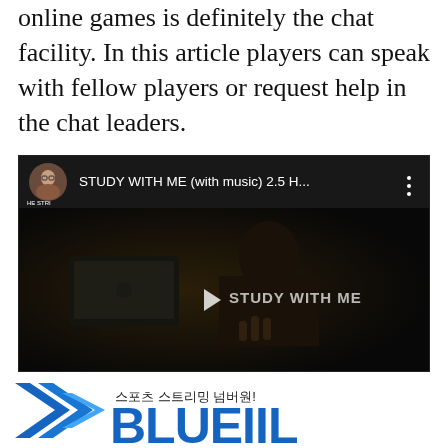online games is definitely the chat facility. In this article players can speak with fellow players or request help in the chat leaders.
[Figure (screenshot): YouTube video thumbnail showing a dark study session scene. Top bar shows avatar, title 'STUDY WITH ME (with music) 2.5 H...' with three-dot menu. Main area shows dark scene with play button and 'STUDY WITH ME' text overlay.]
[Figure (logo): Sports streaming logo with blue chevron/arrow shapes on left, Korean text '스포츠 스트리밍 넘버원!' and large blue text 'BLUEILL' partially visible]